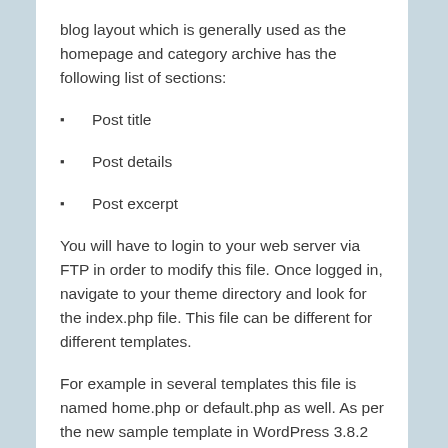blog layout which is generally used as the homepage and category archive has the following list of sections:
Post title
Post details
Post excerpt
You will have to login to your web server via FTP in order to modify this file. Once logged in, navigate to your theme directory and look for the index.php file. This file can be different for different templates.
For example in several templates this file is named home.php or default.php as well. As per the new sample template in WordPress 3.8.2 our will notice that the loop for the posts in present in the index.php